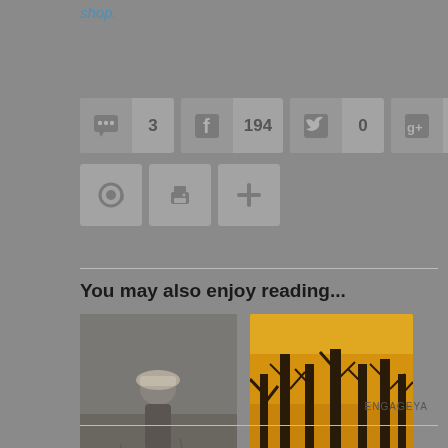shop.
[Figure (infographic): Social sharing buttons row 1: circular icon with count 3, Facebook icon with count 194, Twitter icon with count 0, Google+ icon with count 0]
[Figure (infographic): Social sharing buttons row 2: email icon, print icon, plus icon]
You may also enjoy reading...
[Figure (photo): Black and white photo of a child in a field wearing a hat]
Me....Beautiful? - Rest Ministries - Chronic Illness and Pain S...
[Figure (photo): Photo of bare trees silhouetted against golden/orange sky]
The Power Of The Finger Of God - Rest Ministries...
ENGAGEYA